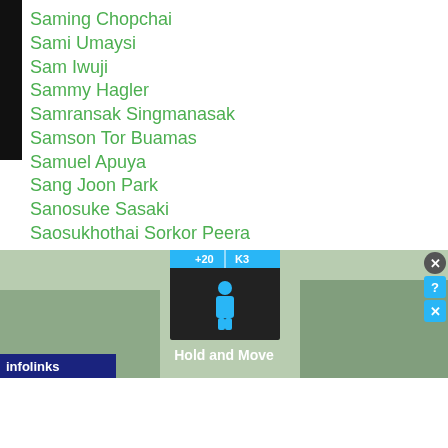Saming Chopchai
Sami Umaysi
Sam Iwuji
Sammy Hagler
Samransak Singmanasak
Samson Tor Buamas
Samuel Apuya
Sang Joon Park
Sanosuke Sasaki
Saosukhothai Sorkor Peera
Sapapetch Sor Sakaorat
Saroj
Saso Hitsuki
Satoru Morishita
Satoru Sugita
Uchida
[Figure (screenshot): Infolinks advertisement banner showing 'Hold and Move' app with winter outdoor background and navigation-style UI elements]